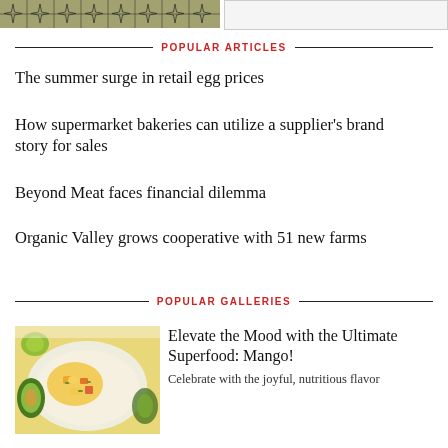[Figure (photo): Decorative geometric/art image strip on the left and a text/screenshot panel on the right at the top of the page]
POPULAR ARTICLES
The summer surge in retail egg prices
How supermarket bakeries can utilize a supplier's brand story for sales
Beyond Meat faces financial dilemma
Organic Valley grows cooperative with 51 new farms
POPULAR GALLERIES
[Figure (photo): Bowl of mango salsa with avocado halves on the side]
Elevate the Mood with the Ultimate Superfood: Mango!
Celebrate with the joyful, nutritious flavor